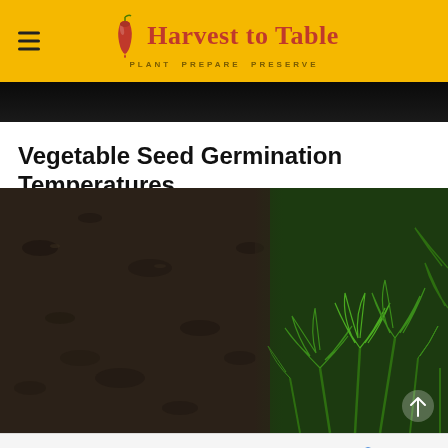Harvest to Table — PLANT PREPARE PRESERVE
[Figure (photo): Dark black image strip, partially visible at top]
Vegetable Seed Germination Temperatures
[Figure (photo): Close-up photo of dark soil on the left and green leafy carrot seedlings on the right, with an upward arrow icon overlay]
[Figure (other): Advertisement banner: Smoothie King logo with play and X buttons, text 'Our Angel Food Is Perfect For Summer', blue diamond navigation icon, and MW logo on the right]